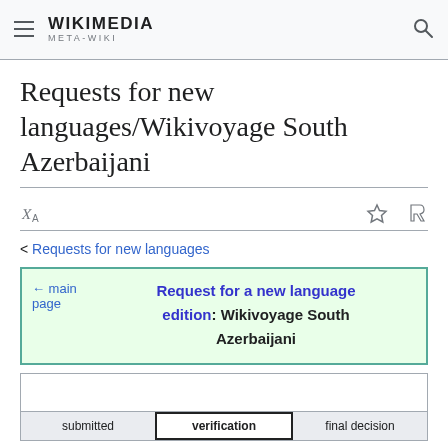WIKIMEDIA META-WIKI
Requests for new languages/Wikivoyage South Azerbaijani
< Requests for new languages
| ← main page | Request for a new language edition: Wikivoyage South Azerbaijani |
| submitted | verification | final decision |
| --- | --- | --- |